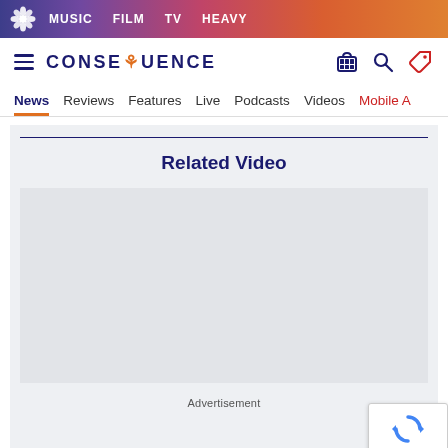MUSIC  FILM  TV  HEAVY
[Figure (logo): Consequence of Sound website header with hamburger menu, CONSEQUENCE logo, and icons for shop, search, and price tag]
News  Reviews  Features  Live  Podcasts  Videos  Mobile A
Related Video
Advertisement
[Figure (other): reCAPTCHA badge with rotating arrows icon and Privacy - Terms links]